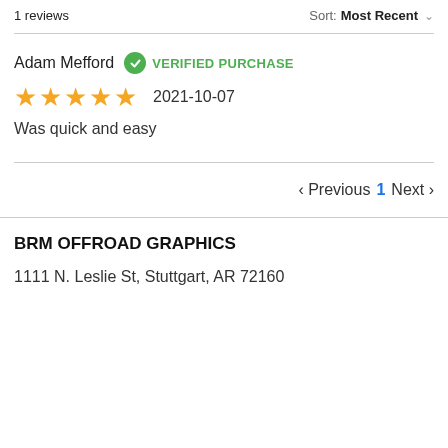1 reviews
Sort: Most Recent
Adam Mefford  VERIFIED PURCHASE
★★★★★  2021-10-07
Was quick and easy
‹ Previous  1  Next ›
BRM OFFROAD GRAPHICS
1111 N. Leslie St, Stuttgart, AR 72160